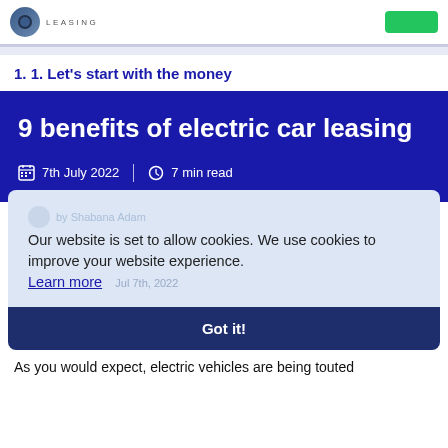LEASING [logo] [CTA button]
1. 1. Let's start with the money
9 benefits of electric car leasing
7th July 2022 | 7 min read
Our website is set to allow cookies. We use cookies to improve your website experience. Learn more
Got it!
As you would expect, electric vehicles are being touted